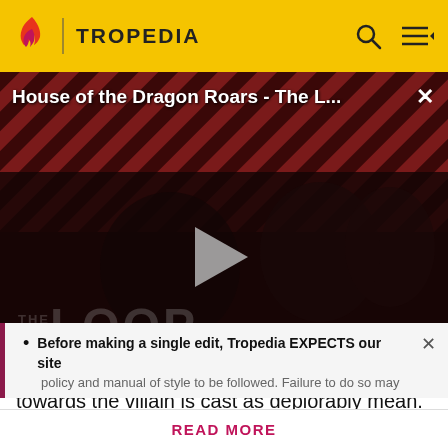TROPEDIA
[Figure (screenshot): Video player thumbnail for 'House of the Dragon Roars - The L...' with diagonal red/dark stripe background, two people visible, THE LOOP text watermark, play button in center, NaN:NaN time display]
towards the villain is cast as deplorably mean.
Before making a single edit, Tropedia EXPECTS our site policy and manual of style to be followed. Failure to do so may
READ MORE